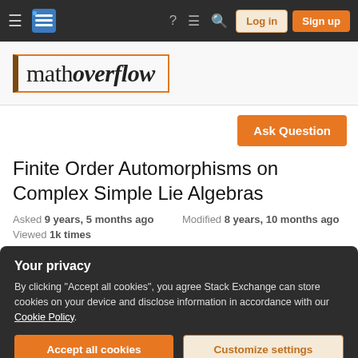MathOverflow navigation bar with Log in and Sign up buttons
[Figure (logo): MathOverflow logo with stylized text 'mathoverflow' in a bordered box]
Ask Question
Finite Order Automorphisms on Complex Simple Lie Algebras
Asked 9 years, 5 months ago   Modified 8 years, 10 months ago
Viewed 1k times
Your privacy
By clicking "Accept all cookies", you agree Stack Exchange can store cookies on your device and disclose information in accordance with our Cookie Policy.
Accept all cookies   Customize settings
automorphism φ such that f = φhφ⁻¹. Then the